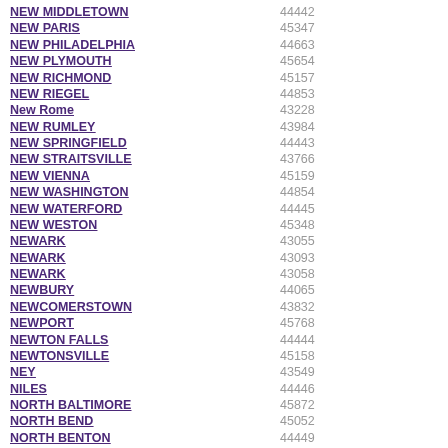| City | ZIP |
| --- | --- |
| NEW MIDDLETOWN | 44442 |
| NEW PARIS | 45347 |
| NEW PHILADELPHIA | 44663 |
| NEW PLYMOUTH | 45654 |
| NEW RICHMOND | 45157 |
| NEW RIEGEL | 44853 |
| New Rome | 43228 |
| NEW RUMLEY | 43984 |
| NEW SPRINGFIELD | 44443 |
| NEW STRAITSVILLE | 43766 |
| NEW VIENNA | 45159 |
| NEW WASHINGTON | 44854 |
| NEW WATERFORD | 44445 |
| NEW WESTON | 45348 |
| NEWARK | 43055 |
| NEWARK | 43093 |
| NEWARK | 43058 |
| NEWBURY | 44065 |
| NEWCOMERSTOWN | 43832 |
| NEWPORT | 45768 |
| NEWTON FALLS | 44444 |
| NEWTONSVILLE | 45158 |
| NEY | 43549 |
| NILES | 44446 |
| NORTH BALTIMORE | 45872 |
| NORTH BEND | 45052 |
| NORTH BENTON | 44449 |
| NORTH BLOOMFIELD | 44450 |
| NORTH FAIRFIELD | 44855 |
| NORTH GEORGETOWN | 44665 |